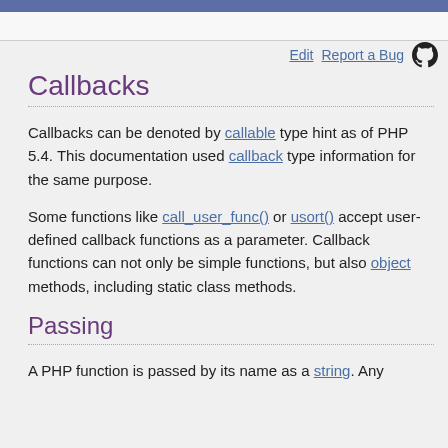Edit   Report a Bug
Callbacks
Callbacks can be denoted by callable type hint as of PHP 5.4. This documentation used callback type information for the same purpose.
Some functions like call_user_func() or usort() accept user-defined callback functions as a parameter. Callback functions can not only be simple functions, but also object methods, including static class methods.
Passing
A PHP function is passed by its name as a string. Any